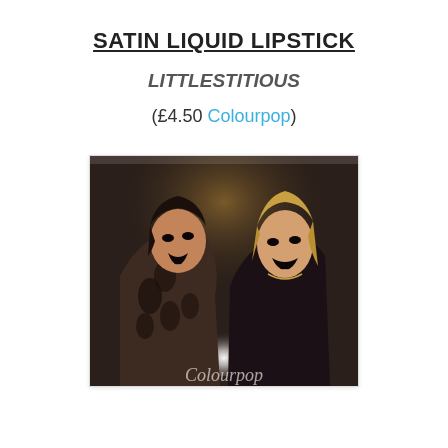SATIN LIQUID LIPSTICK
LITTLESTITIOUS
(£4.50 Colourpop)
[Figure (photo): Two women wearing dark lipstick posing together, one in a patterned fur coat, with a bright flash/light between them and a Colourpop logo partially visible at the bottom]